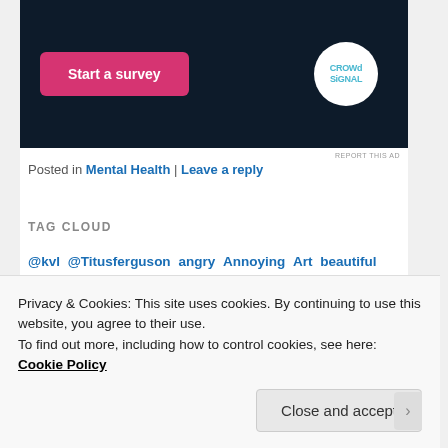[Figure (screenshot): Dark navy advertisement banner with pink 'Start a survey' button and Crowdsignal logo in white circle]
REPORT THIS AD
Posted in Mental Health | Leave a reply
TAG CLOUD
@kvl @Titusferguson angry Annoying Art beautiful caring City of London clean climate change conference Community cool Curiosity deaf heaven Dignity Engagement Facebook
Privacy & Cookies: This site uses cookies. By continuing to use this website, you agree to their use.
To find out more, including how to control cookies, see here: Cookie Policy